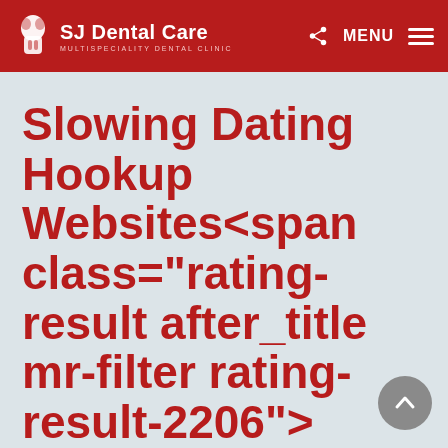SJ Dental Care — MULTISPECIALITY DENTAL CLINIC — MENU
Slowing Dating Hookup Websites<span class="rating-result after_title mr-filter rating-result-2206"><span class="no-rating-results-